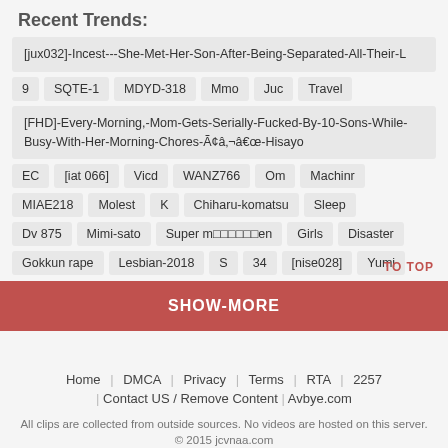Recent Trends:
[jux032]-Incest---She-Met-Her-Son-After-Being-Separated-All-Their-L
9   SQTE-1   MDYD-318   Mmo   Juc   Travel
[FHD]-Every-Morning,-Mom-Gets-Serially-Fucked-By-10-Sons-While-Busy-With-Her-Morning-Chores-Ã¢â‚¬â€œ-Hisayo
EC   [iat 066]   Vicd   WANZ766   Om   Machinr
MIAE218   Molest   K   Chiharu-komatsu   Sleep
Dv 875   Mimi-sato   Super m□□□□□□en   Girls   Disaster
Gokkun rape   Lesbian-2018   S   34   [nise028]   Yumi
SHOW-MORE
Home | DMCA | Privacy | Terms | RTA | 2257 | Contact US / Remove Content | Avbye.com
All clips are collected from outside sources. No videos are hosted on this server. © 2015 jcvnaa.com